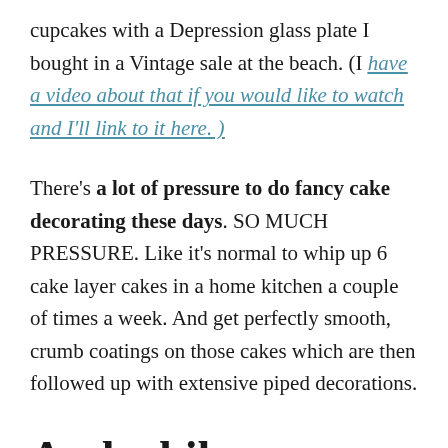cupcakes with a Depression glass plate I bought in a Vintage sale at the beach. (I have a video about that if you would like to watch and I'll link to it here. )
There's a lot of pressure to do fancy cake decorating these days. SO MUCH PRESSURE. Like it's normal to whip up 6 cake layer cakes in a home kitchen a couple of times a week. And get perfectly smooth, crumb coatings on those cakes which are then followed up with extensive piped decorations.
And while decorating a six